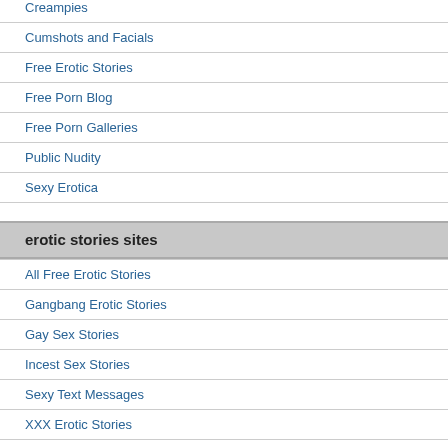Creampies
Cumshots and Facials
Free Erotic Stories
Free Porn Blog
Free Porn Galleries
Public Nudity
Sexy Erotica
erotic stories sites
All Free Erotic Stories
Gangbang Erotic Stories
Gay Sex Stories
Incest Sex Stories
Sexy Text Messages
XXX Erotic Stories